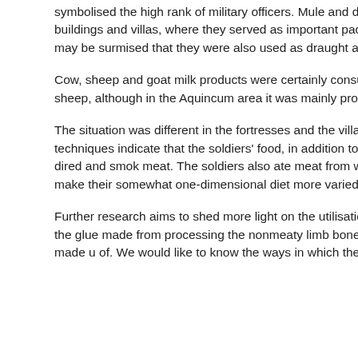symbolised the high rank of military officers. Mule and donkey bones are also found in refuse pits of military buildings and villas, where they served as important pack animals.Based on the injuries found on their bones, it may be surmised that they were also used as draught animals.
Cow, sheep and goat milk products were certainly consumed. Wool was an important secondary product of sheep, although in the Aquincum area it was mainly produced for local consumption.
The situation was different in the fortresses and the villages surrounding them. The traces of the butchering techniques indicate that the soldiers' food, in addition to the staple grain products, included, especially in the winter, dired and smoked meat. The soldiers also ate meat from wild animals including red deer, wild boar and fish, to help make their somewhat one-dimensional diet more varied.
Further research aims to shed more light on the utilisation of the animals' meat, draught power, integument, bones, the glue made from processing the nonmeaty limb bones and – in the case of horned animals – how the horn was made use of. We would like to know the ways in which the role of
[Figure (other): Social media sidebar with icons: Flickr (three dots), Facebook (f), Twitter (bird), YouTube (You/Tube), and a ticket/bookmark icon, all on black background]